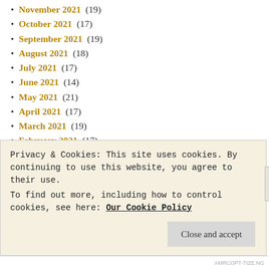November 2021 (19)
October 2021 (17)
September 2021 (19)
August 2021 (18)
July 2021 (17)
June 2021 (14)
May 2021 (21)
April 2021 (17)
March 2021 (19)
February 2021 (17)
January 2021 (17)
December 2020 (19)
November 2020 (18)
October 2020 (18)
September 2020 (20)
August 2020 (15)
July 2020 (16)
Privacy & Cookies: This site uses cookies. By continuing to use this website, you agree to their use. To find out more, including how to control cookies, see here: Our Cookie Policy
AMRCOPT-TIZE.NG